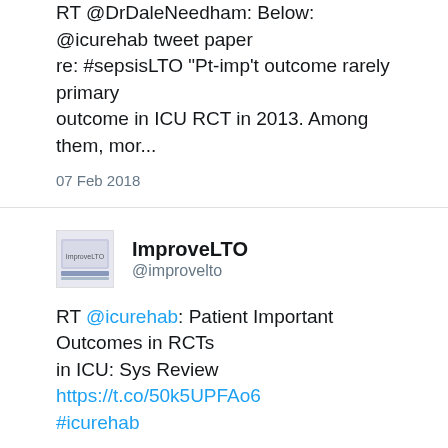RT @DrDaleNeedham: Below: @icurehab tweet paper re: #sepsisLTO "Pt-imp't outcome rarely primary outcome in ICU RCT in 2013. Among them, mor...
07 Feb 2018
ImproveLTO @improvelto
RT @icurehab: Patient Important Outcomes in RCTs in ICU: Sys Review https://t.co/50k5UPFAo6 #icurehab
07 Feb 2018
ImproveLTO @improvelto
RT @DrDaleNeedham: Below: @icurehab tweet paper